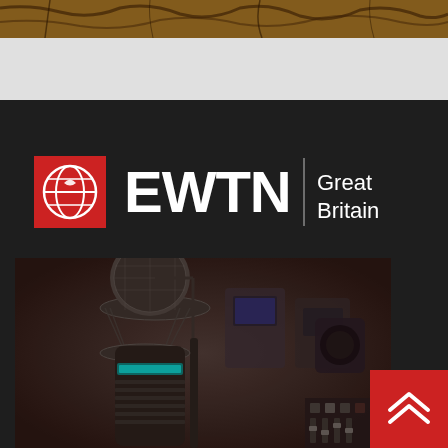[Figure (photo): Cracked earth or wood texture photo, cropped at top of page]
[Figure (logo): EWTN Great Britain logo — red globe icon, bold white EWTN text, vertical divider, white 'Great Britain' text on dark background]
[Figure (photo): Studio microphone (large condenser mic on shock mount stand) in a radio studio with blurred equipment in background]
[Figure (other): Red scroll-to-top button with double chevron/arrow icon in bottom right corner]